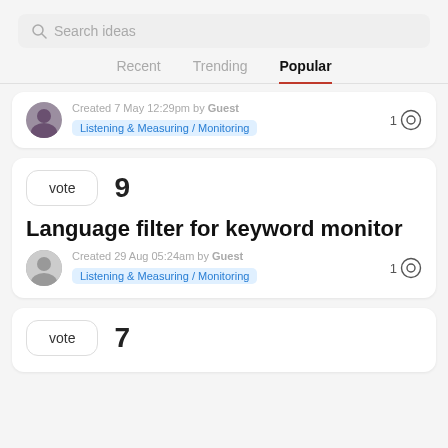[Figure (screenshot): Search bar with placeholder text 'Search ideas']
Recent   Trending   Popular
Created 7 May 12:29pm by Guest
Listening & Measuring / Monitoring
1 [comment icon]
vote  9
Language filter for keyword monitor
Created 29 Aug 05:24am by Guest
Listening & Measuring / Monitoring
1 [comment icon]
vote  7